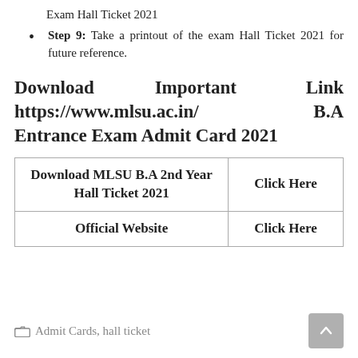Exam Hall Ticket 2021
Step 9: Take a printout of the exam Hall Ticket 2021 for future reference.
Download Important Link https://www.mlsu.ac.in/ B.A Entrance Exam Admit Card 2021
|  |  |
| --- | --- |
| Download MLSU B.A 2nd Year Hall Ticket 2021 | Click Here |
| Official Website | Click Here |
Admit Cards, hall ticket